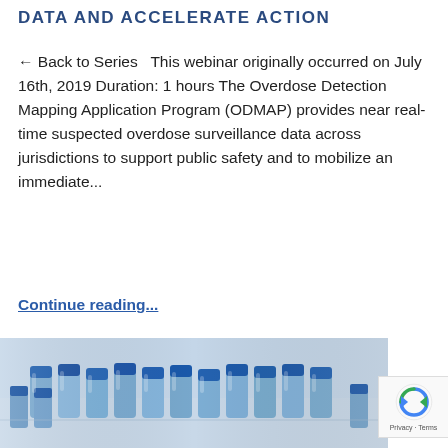DATA AND ACCELERATE ACTION
← Back to Series  This webinar originally occurred on July 16th, 2019 Duration: 1 hours The Overdose Detection Mapping Application Program (ODMAP) provides near real-time suspected overdose surveillance data across jurisdictions to support public safety and to mobilize an immediate...
Continue reading...
[Figure (photo): Photo of blue-capped laboratory vials/bottles arranged in rows on a light surface, slightly blurred background]